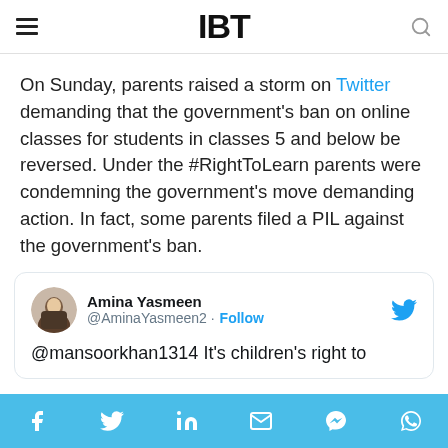IBT
On Sunday, parents raised a storm on Twitter demanding that the government's ban on online classes for students in classes 5 and below be reversed. Under the #RightToLearn parents were condemning the government's move demanding action. In fact, some parents filed a PIL against the government's ban.
Amina Yasmeen @AminaYasmeen2 · Follow — @mansoorkhan1314 It's children's right to
Social share bar: Facebook, Twitter, LinkedIn, Email, Messenger, WhatsApp